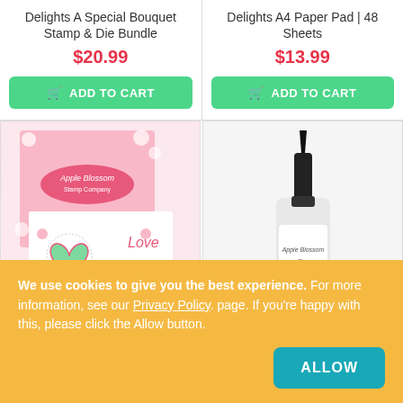Delights A Special Bouquet Stamp & Die Bundle
$20.99
ADD TO CART
Delights A4 Paper Pad | 48 Sheets
$13.99
ADD TO CART
[Figure (photo): Craft stamp set product with floral pink design and heart card showing 'Love']
[Figure (photo): Glue bottle with black nozzle tip, white bottle body]
We use cookies to give you the best experience. For more information, see our Privacy Policy. page. If you're happy with this, please click the Allow button.
ALLOW